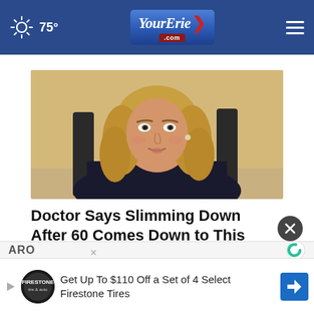☀ 75° — YourErie.com
[Figure (photo): A blonde woman in a dark blazer seated in a chair, looking at the camera, promotional/advertisement image]
Doctor Says Slimming Down After 60 Comes Down to This
Ad by Dr. Kellyann
ARO
[Figure (logo): Taboola logo - circular C shape in teal/green]
Get Up To $110 Off a Set of 4 Select Firestone Tires